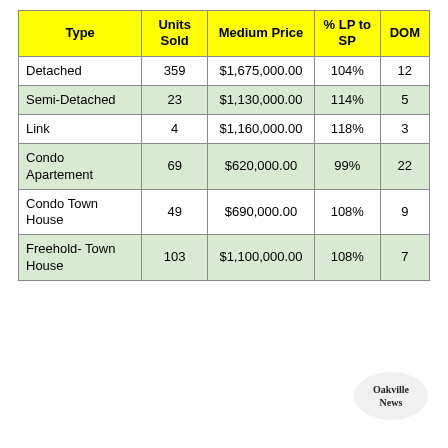| Type | Units Sold | Medium Price | % LP to SP | DOM |
| --- | --- | --- | --- | --- |
| Detached | 359 | $1,675,000.00 | 104% | 12 |
| Semi-Detached | 23 | $1,130,000.00 | 114% | 5 |
| Link | 4 | $1,160,000.00 | 118% | 3 |
| Condo Apartement | 69 | $620,000.00 | 99% | 22 |
| Condo Town House | 49 | $690,000.00 | 108% | 9 |
| Freehold- Town House | 103 | $1,100,000.00 | 108% | 7 |
[Figure (logo): Oakville News logo — circular emblem with serif text]